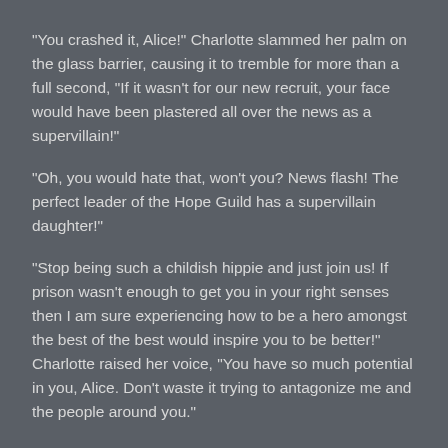"You crashed it, Alice!" Charlotte slammed her palm on the glass barrier, causing it to tremble for more than a full second, "If it wasn't for our new recruit, your face would have been plastered all over the news as a supervillain!"
"Oh, you would hate that, won't you? News flash! The perfect leader of the Hope Guild has a supervillain daughter!"
"Stop being such a childish hippie and just join us! If prison wasn't enough to get you in your right senses then I am sure experiencing how to be a hero amongst the best of the best would inspire you to be better!" Charlotte raised her voice, "You have so much potential in you, Alice. Don't waste it trying to antagonize me and the people around you."
"Antagonize?" Alice let out a small scoff, "The people here love me."